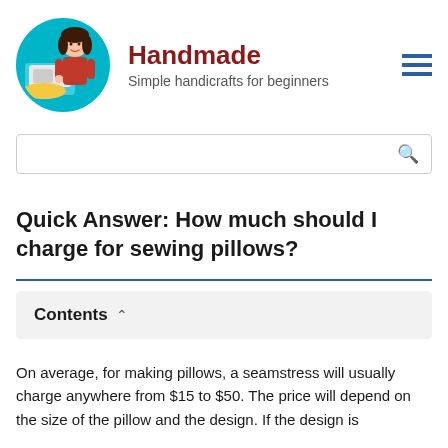Handmade — Simple handicrafts for beginners
Quick Answer: How much should I charge for sewing pillows?
Contents
On average, for making pillows, a seamstress will usually charge anywhere from $15 to $50. The price will depend on the size of the pillow and the design. If the design is